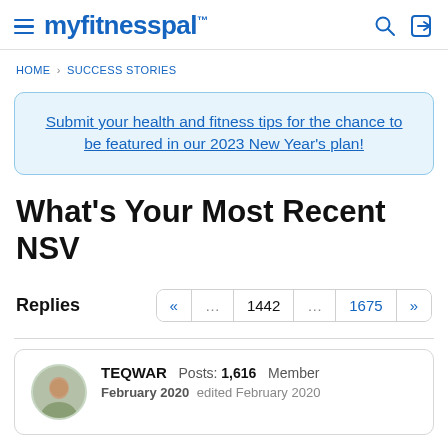myfitnesspal
HOME › SUCCESS STORIES
Submit your health and fitness tips for the chance to be featured in our 2023 New Year's plan!
What's Your Most Recent NSV
Replies  « … 1442 … 1675 »
TEQWAR  Posts: 1,616  Member  February 2020  edited February 2020